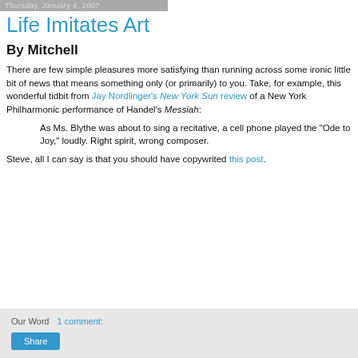Thursday, January 4, 2007
Life Imitates Art
By Mitchell
There are few simple pleasures more satisfying than running across some ironic little bit of news that means something only (or primarily) to you. Take, for example, this wonderful tidbit from Jay Nordlinger's New York Sun review of a New York Philharmonic performance of Handel's Messiah:
As Ms. Blythe was about to sing a recitative, a cell phone played the "Ode to Joy," loudly. Right spirit, wrong composer.
Steve, all I can say is that you should have copywrited this post.
Our Word   1 comment: